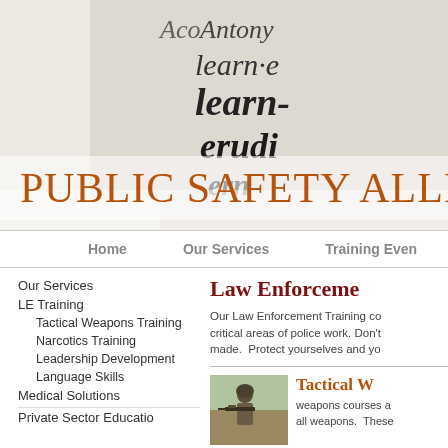[Figure (photo): Close-up photo of a dictionary page showing words including 'Antony', 'learn', 'erudite' in serif italic font on aged paper background]
PUBLIC SAFETY ALLIANC
Home   Our Services   Training Even
Our Services
LE Training
Tactical Weapons Training
Narcotics Training
Leadership Development
Language Skills
Medical Solutions
Private Sector Education
Law Enforceme
Our Law Enforcement Training co critical areas of police work. Don't made.  Protect yourselves and yo
[Figure (photo): Photo of a soldier/tactical operator in military gear holding a weapon]
Tactical W
weapons courses a all weapons.  These